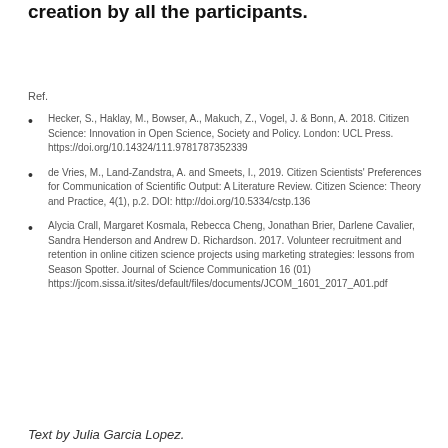creation by all the participants.
Ref.
Hecker, S., Haklay, M., Bowser, A., Makuch, Z., Vogel, J. & Bonn, A. 2018. Citizen Science: Innovation in Open Science, Society and Policy. London: UCL Press. https://doi.org/10.14324/111.9781787352339
de Vries, M., Land-Zandstra, A. and Smeets, I., 2019. Citizen Scientists' Preferences for Communication of Scientific Output: A Literature Review. Citizen Science: Theory and Practice, 4(1), p.2. DOI: http://doi.org/10.5334/cstp.136
Alycia Crall, Margaret Kosmala, Rebecca Cheng, Jonathan Brier, Darlene Cavalier, Sandra Henderson and Andrew D. Richardson. 2017. Volunteer recruitment and retention in online citizen science projects using marketing strategies: lessons from Season Spotter. Journal of Science Communication 16 (01) https://jcom.sissa.it/sites/default/files/documents/JCOM_1601_2017_A01.pdf
Text by Julia Garcia Lopez.